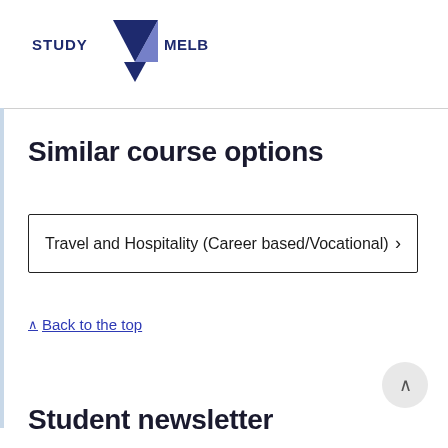[Figure (logo): Study Melbourne logo with dark navy triangle/chevron shape and bold text STUDY MELBOURNE]
Similar course options
Travel and Hospitality (Career based/Vocational) ›
^ Back to the top
Student newsletter